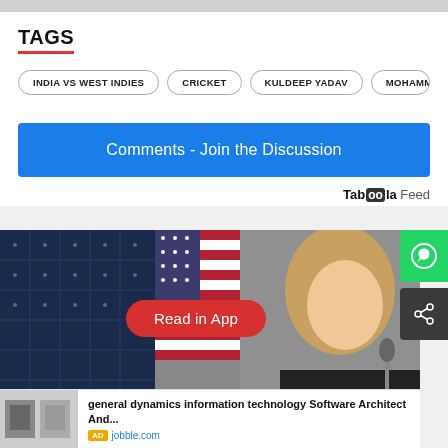TAGS
INDIA VS WEST INDIES
CRICKET
KULDEEP YADAV
MOHAMMED
Comments - Join the Discussion
Taboola Feed
[Figure (photo): Woman with blonde hair at a microphone with US flag and solar panel in background, with a red 'Read in App' button overlay]
general dynamics information technology Software Architect And...
AD jobble.com